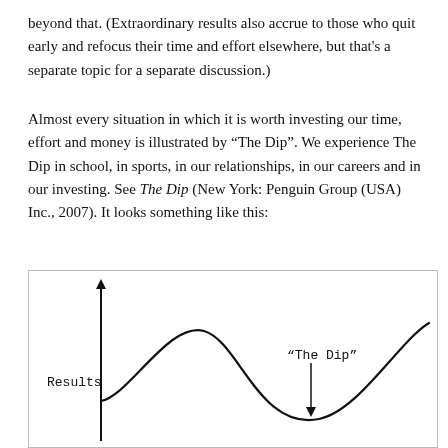beyond that. (Extraordinary results also accrue to those who quit early and refocus their time and effort elsewhere, but that's a separate topic for a separate discussion.)
Almost every situation in which it is worth investing our time, effort and money is illustrated by "The Dip". We experience The Dip in school, in sports, in our relationships, in our careers and in our investing. See The Dip (New York: Penguin Group (USA) Inc., 2007). It looks something like this:
[Figure (continuous-plot): A line graph labeled 'Results' on the y-axis showing 'The Dip' curve — a wave-like line that rises initially, dips down in the middle, then rises again. The lowest point of the dip is labeled '"The Dip"' with an arrow pointing to the bottom of the curve.]